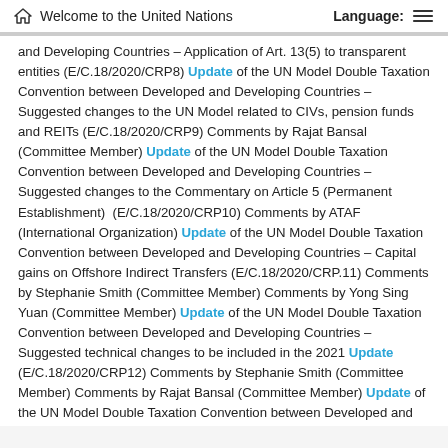Welcome to the United Nations   Language:
and Developing Countries – Application of Art. 13(5) to transparent entities (E/C.18/2020/CRP8) Update of the UN Model Double Taxation Convention between Developed and Developing Countries – Suggested changes to the UN Model related to CIVs, pension funds and REITs (E/C.18/2020/CRP9) Comments by Rajat Bansal (Committee Member) Update of the UN Model Double Taxation Convention between Developed and Developing Countries – Suggested changes to the Commentary on Article 5 (Permanent Establishment)  (E/C.18/2020/CRP10) Comments by ATAF (International Organization) Update of the UN Model Double Taxation Convention between Developed and Developing Countries – Capital gains on Offshore Indirect Transfers (E/C.18/2020/CRP.11) Comments by Stephanie Smith (Committee Member) Comments by Yong Sing Yuan (Committee Member) Update of the UN Model Double Taxation Convention between Developed and Developing Countries – Suggested technical changes to be included in the 2021 Update (E/C.18/2020/CRP12) Comments by Stephanie Smith (Committee Member) Comments by Rajat Bansal (Committee Member) Update of the UN Model Double Taxation Convention between Developed and Developing Countries – Application of Article 12 to software payments (E/C.18/2020/CRP13) Comments by Rajat Bansal (Committee Member) Comments by USCIB (Business Sector) Corrections to Article 5 UN Model and its Commentary (E/C.18/2020/CRP26) Update of the UN Model Double Taxation Convention between Developed and Developing Countries – Corrections to note E/C.18/2020/CRP.9 on Collective Investment Vehicles,